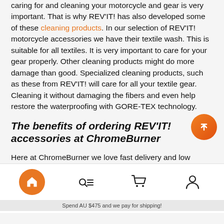caring for and cleaning your motorcycle and gear is very important. That is why REV'IT! has also developed some of these cleaning products. In our selection of REV'IT! motorcycle accessories we have their textile wash. This is suitable for all textiles. It is very important to care for your gear properly. Other cleaning products might do more damage than good. Specialized cleaning products, such as these from REV'IT! will care for all your textile gear. Cleaning it without damaging the fibers and even help restore the waterproofing with GORE-TEX technology.
The benefits of ordering REV'IT! accessories at ChromeBurner
Here at ChromeBurner we love fast delivery and low prices, that's why we guarantee you both.Your new REV'IT! motorcycle accessories will arrive at your doorstep in no time. On top of that
Spend AU $475 and we pay for shipping!